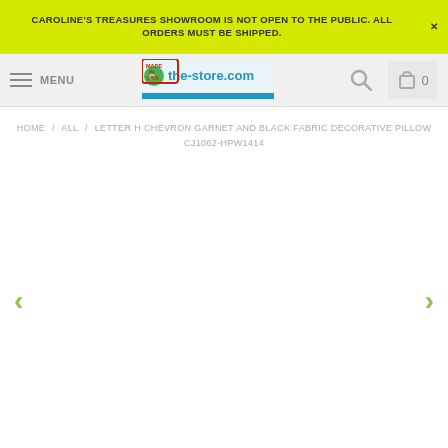CAROLINE'S TREASURES SHOWROOM IS NOT OPEN TO THE PUBLIC. ALL ORDERS MUST BE SHIPPED.
[Figure (screenshot): E-commerce website navigation bar with hamburger menu (MENU), the-store.com logo with 'MADE IN USA' stamp, search icon, and cart showing 0 items]
HOME / ALL / LETTER H CHEVRON GARNET AND BLACK FABRIC DECORATIVE PILLOW CJ1062-HPW1414